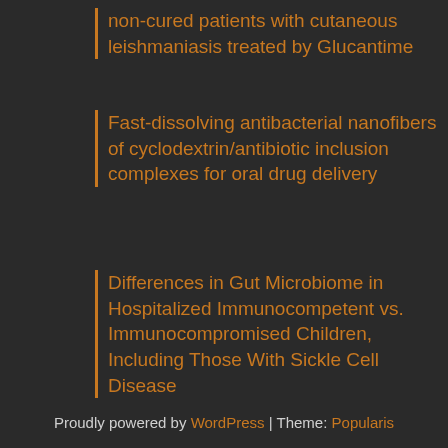non-cured patients with cutaneous leishmaniasis treated by Glucantime
Fast-dissolving antibacterial nanofibers of cyclodextrin/antibiotic inclusion complexes for oral drug delivery
Differences in Gut Microbiome in Hospitalized Immunocompetent vs. Immunocompromised Children, Including Those With Sickle Cell Disease
Proudly powered by WordPress | Theme: Popularis